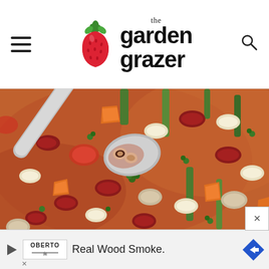the garden grazer
[Figure (photo): Close-up photo of minestrone soup in a bowl, showing a spoon lifting ditalini pasta rings, kidney beans, cannellini beans, carrots, green beans, tomatoes, and fresh parsley in a tomato-based broth]
[Figure (other): Advertisement banner: Oberto logo with 'Real Wood Smoke.' text and a blue diamond-shaped arrow icon]